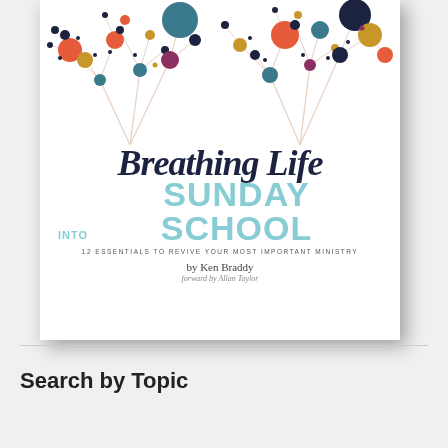[Figure (illustration): Book cover of 'Breathing Life into Sunday School: 12 Essentials to Revive Your Most Important Ministry' by Ken Braddy, forward by Allan Taylor. The cover features colorful decorative branch-and-dot illustrations on a white background at the top, with hand-lettered script title text and bold sans-serif subtitle text in teal/light blue.]
Search by Topic